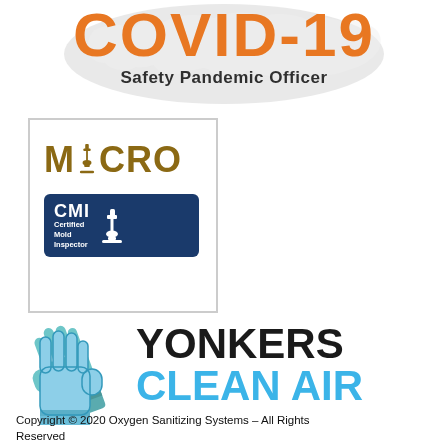[Figure (logo): COVID-19 Safety Pandemic Officer logo with orange COVID-19 text over a world map watermark, and subtitle 'Safety Pandemic Officer']
[Figure (logo): MACRO logo with microscope icon in gold/brown color, and CMI Certified Mold Inspector badge in dark blue, inside a bordered box]
[Figure (logo): Yonkers Clean Air logo with teal/blue rubber gloves icon and bold text 'YONKERS' in black and 'CLEAN AIR' in blue]
Copyright © 2020 Oxygen Sanitizing Systems – All Rights Reserved